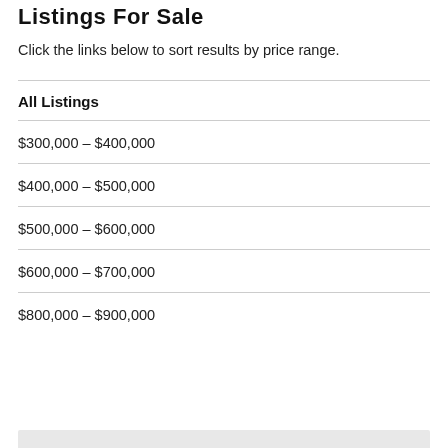Listings For Sale
Click the links below to sort results by price range.
All Listings
$300,000 – $400,000
$400,000 – $500,000
$500,000 – $600,000
$600,000 – $700,000
$800,000 – $900,000